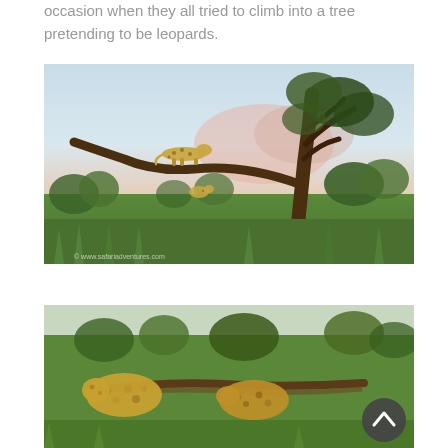occasion when they all tried to climb into a tree pretending to be leopards.
[Figure (photo): A cheetah standing on a curved tree branch in an African savanna at sunset, with another cheetah visible on the ground below, surrounded by green bush and trees against a pink and blue sky. Watermark visible at bottom left.]
[Figure (photo): Cheetahs resting in the African savanna grass, viewed from behind/above, with green vegetation and a fallen log visible. A dark circular scroll-to-top button overlays the bottom right of the image.]